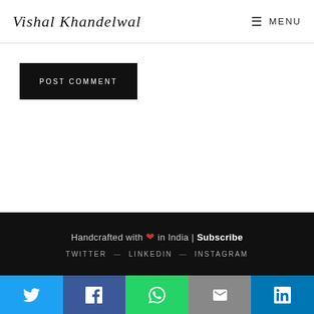Vishal Khandelwal | MENU
POST COMMENT
Handcrafted with ❤ in India | Subscribe  TWITTER — LINKEDIN — INSTAGRAM
[Figure (infographic): Social share buttons: Twitter (blue), Facebook (dark blue), WhatsApp (green), Email (grey), LinkedIn (light blue)]